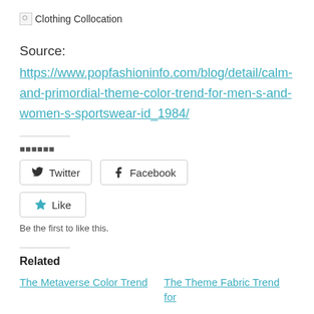[Figure (illustration): Broken image placeholder with text 'Clothing Collocation']
Source:
https://www.popfashioninfo.com/blog/detail/calm-and-primordial-theme-color-trend-for-men-s-and-women-s-sportswear-id_1984/
██████
Twitter  Facebook (social share buttons)
Like
Be the first to like this.
Related
The Metaverse Color Trend    The Theme Fabric Trend for